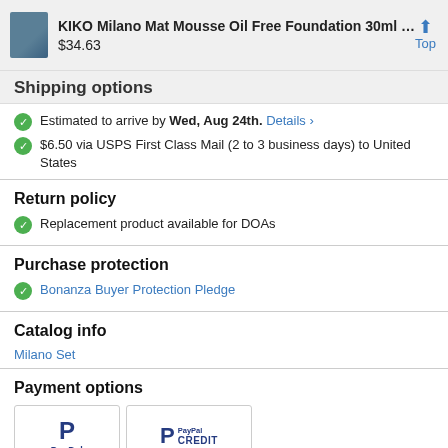KIKO Milano Mat Mousse Oil Free Foundation 30ml … $34.63
Shipping options
Estimated to arrive by Wed, Aug 24th. Details ›
$6.50 via USPS First Class Mail (2 to 3 business days) to United States
Return policy
Replacement product available for DOAs
Purchase protection
Bonanza Buyer Protection Pledge
Catalog info
Milano Set
Payment options
[Figure (logo): PayPal and PayPal Credit payment option logos]
Pay in 4 interest-free payments of $8.66 with PayPal. Learn more